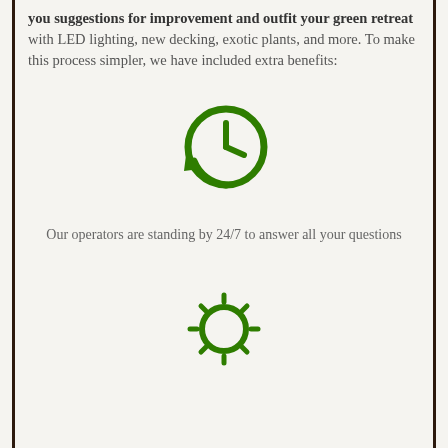you suggestions for improvement and outfit your green retreat with LED lighting, new decking, exotic plants, and more. To make this process simpler, we have included extra benefits:
[Figure (illustration): Green circular arrow clock icon indicating 24/7 support or history/restore functionality]
Our operators are standing by 24/7 to answer all your questions
[Figure (illustration): Green sun icon with rays indicating brightness or daylight services]